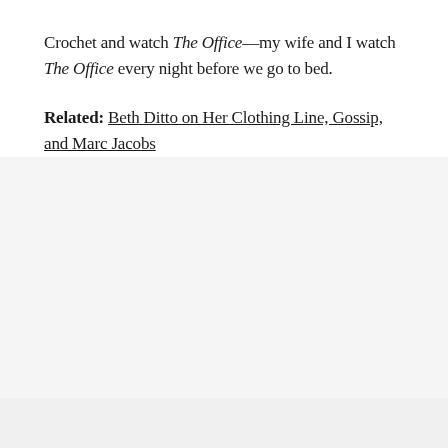Crochet and watch The Office—my wife and I watch The Office every night before we go to bed.
Related: Beth Ditto on Her Clothing Line, Gossip, and Marc Jacobs
ADVERTISEMENT